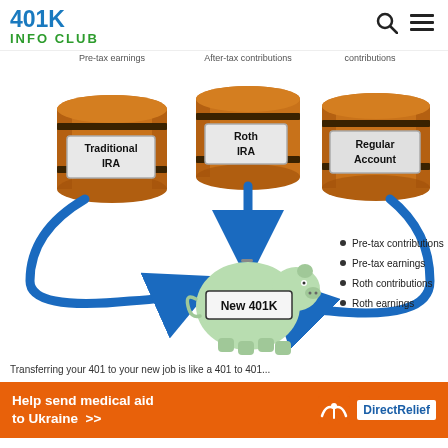401K INFO CLUB
[Figure (infographic): Infographic showing three barrels labeled Traditional IRA (pre-tax earnings), Roth IRA (after-tax contributions), and Regular Account (contributions), with blue arrows pointing to a green piggy bank labeled New 401K in the center. A bullet list reads: Pre-tax contributions, Pre-tax earnings, Roth contributions, Roth earnings.]
Transferring your 401 to your new job is like a 401 to 401...
[Figure (infographic): Orange advertisement banner: Help send medical aid to Ukraine >> DirectRelief logo]